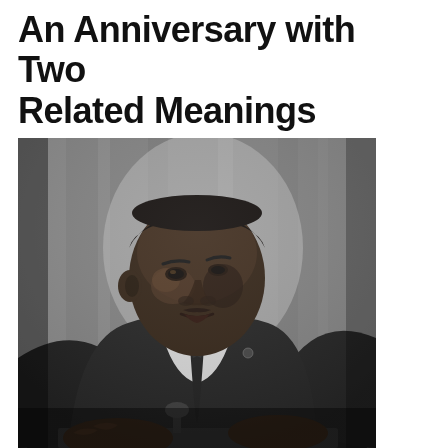An Anniversary with Two Related Meanings
[Figure (photo): Black and white photograph of Martin Luther King Jr., seated at a table, looking upward to his right, wearing a dark suit and tie, hands resting on the table in front of him.]